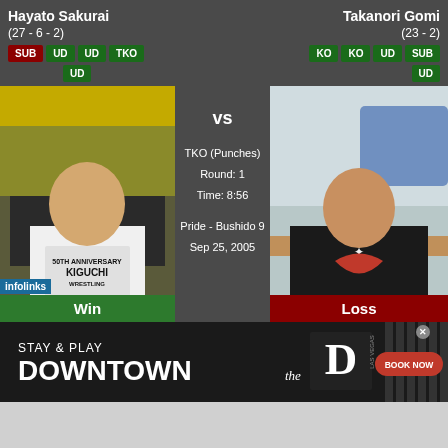Hayato Sakurai
(27 - 6 - 2)
SUB UD UD TKO UD
Takanori Gomi
(23 - 2)
KO KO UD SUB UD
[Figure (photo): Hayato Sakurai fighter photo, man in white Kiguchi Wrestling t-shirt]
vs
TKO (Punches)
Round: 1
Time: 8:56
Pride - Bushido 9
Sep 25, 2005
[Figure (photo): Takanori Gomi fighter photo, man in black Come and Take It t-shirt]
Win
Loss
[Figure (infographic): Advertisement: Stay & Play Downtown - The D Las Vegas, Book Now button]